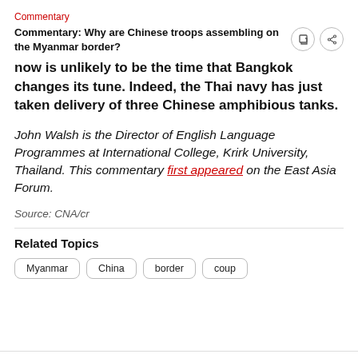Commentary
Commentary: Why are Chinese troops assembling on the Myanmar border?
now is unlikely to be the time that Bangkok changes its tune. Indeed, the Thai navy has just taken delivery of three Chinese amphibious tanks.
John Walsh is the Director of English Language Programmes at International College, Krirk University, Thailand. This commentary first appeared on the East Asia Forum.
Source: CNA/cr
Related Topics
Myanmar
China
border
coup